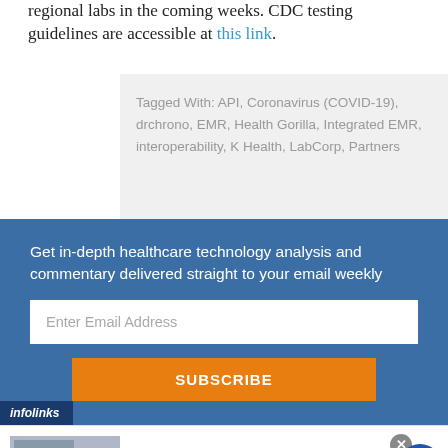regional labs in the coming weeks. CDC testing guidelines are accessible at this link.
Tagged With: API, Coronavirus (COVID-19), drchrono, EMR, Health Gorilla, Integrated EMR, interoperability, K Health, LabCorp, Partners
Get in-depth healthcare technology analysis and commentary delivered straight to your email weekly
[Figure (screenshot): Email subscription box with blue background, text input for email address, and orange SUBSCRIBE button. Infolinks branding at bottom left.]
[Figure (screenshot): Advertisement banner: Pet Food, Products, Supplies at Low Prices - chewy.com. Close button and navigation arrow visible.]